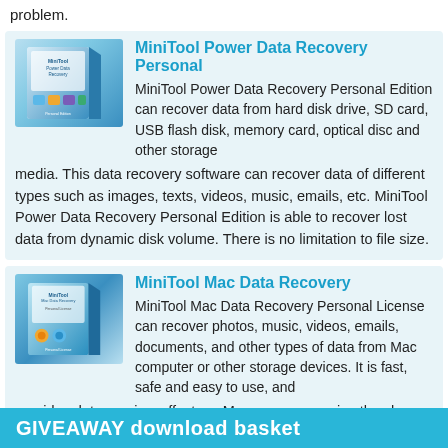problem.
[Figure (illustration): MiniTool Power Data Recovery Personal Edition software box illustration]
MiniTool Power Data Recovery Personal
MiniTool Power Data Recovery Personal Edition can recover data from hard disk drive, SD card, USB flash disk, memory card, optical disc and other storage media. This data recovery software can recover data of different types such as images, texts, videos, music, emails, etc. MiniTool Power Data Recovery Personal Edition is able to recover lost data from dynamic disk volume. There is no limitation to file size.
[Figure (illustration): MiniTool Mac Data Recovery Personal License software box illustration]
MiniTool Mac Data Recovery
MiniTool Mac Data Recovery Personal License can recover photos, music, videos, emails, documents, and other types of data from Mac computer or other storage devices. It is fast, safe and easy to use, and provides data preview effect, so Mac users can enjoy the charm of data recovery in advance.
GIVEAWAY download basket